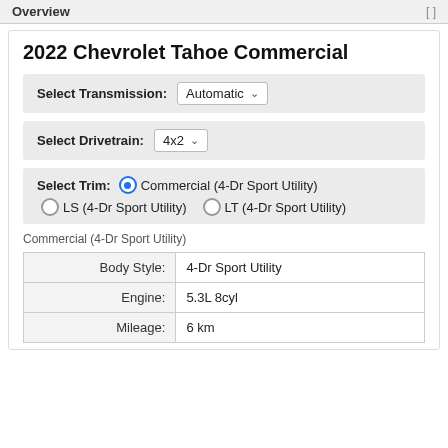Overview
2022 Chevrolet Tahoe Commercial
Select Transmission: Automatic
Select Drivetrain: 4x2
Select Trim: Commercial (4-Dr Sport Utility) | LS (4-Dr Sport Utility) | LT (4-Dr Sport Utility)
Commercial (4-Dr Sport Utility)
| Label | Value |
| --- | --- |
| Body Style: | 4-Dr Sport Utility |
| Engine: | 5.3L 8cyl |
| Mileage: | 6 km |